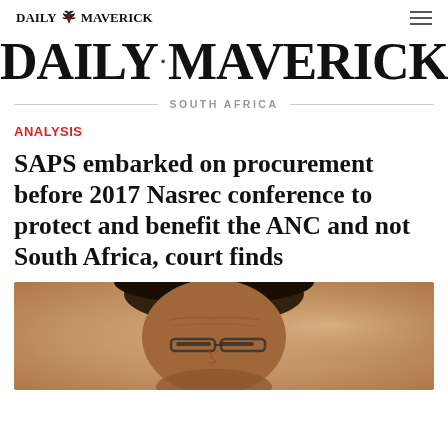DAILY MAVERICK
[Figure (logo): Daily Maverick large masthead logo with bird graphic between DAILY and MAVERICK]
SOUTH AFRICA
ANALYSIS
SAPS embarked on procurement before 2017 Nasrec conference to protect and benefit the ANC and not South Africa, court finds
[Figure (photo): Close-up photograph of a man's face, slightly downcast, wearing glasses, with a blurred warm background]